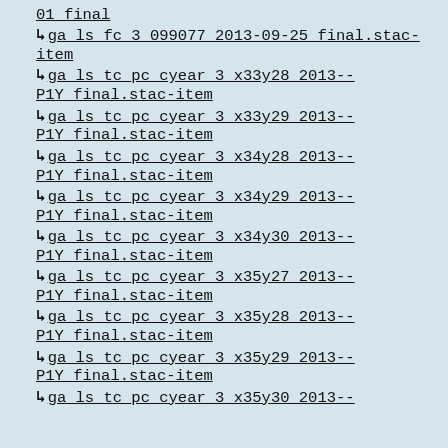01_final
ga_ls_fc_3_099077_2013-09-25_final.stac-item
ga_ls_tc_pc_cyear_3_x33y28_2013--P1Y_final.stac-item
ga_ls_tc_pc_cyear_3_x33y29_2013--P1Y_final.stac-item
ga_ls_tc_pc_cyear_3_x34y28_2013--P1Y_final.stac-item
ga_ls_tc_pc_cyear_3_x34y29_2013--P1Y_final.stac-item
ga_ls_tc_pc_cyear_3_x34y30_2013--P1Y_final.stac-item
ga_ls_tc_pc_cyear_3_x35y27_2013--P1Y_final.stac-item
ga_ls_tc_pc_cyear_3_x35y28_2013--P1Y_final.stac-item
ga_ls_tc_pc_cyear_3_x35y29_2013--P1Y_final.stac-item
ga_ls_tc_pc_cyear_3_x35y30_2013--...